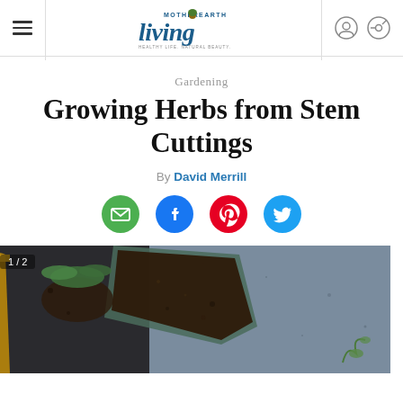Mother Earth Living — navigation header with hamburger menu, logo, user icon, and search icon
Gardening
Growing Herbs from Stem Cuttings
By David Merrill
[Figure (other): Social share icons: email (green circle), Facebook (blue circle), Pinterest (red circle), Twitter (blue circle)]
[Figure (photo): Close-up photo of soil being scooped with a trowel, with green moss or plant material visible, dark moody background. Image counter shows 1/2.]